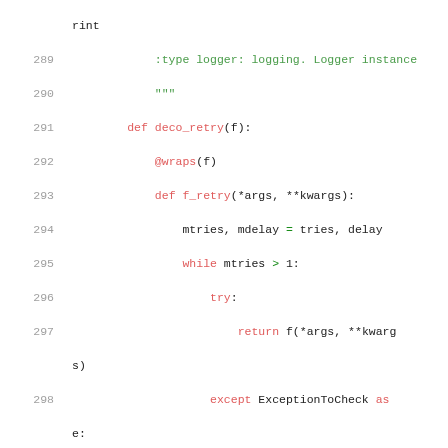Python source code listing, lines 289-307, showing a retry decorator implementation with logging support.